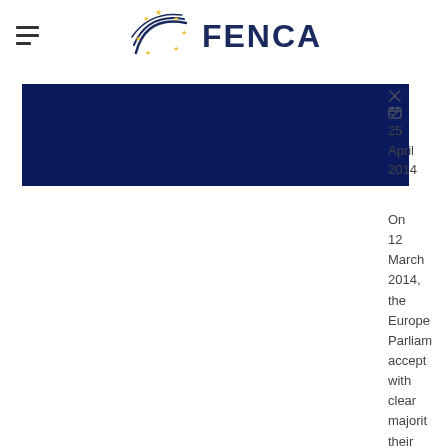[Figure (logo): FENCA logo with navy swoosh lines and yellow stars arranged in a circular pattern, followed by bold navy text FENCA]
[Figure (photo): Dark navy blue rectangular banner image]
25 April 2014
On 12 March 2014, the European Parliament accepted with clear majority their